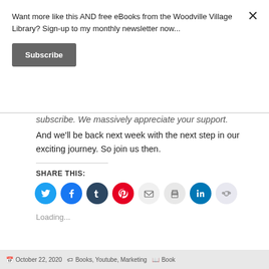Want more like this AND free eBooks from the Woodville Village Library? Sign-up to my monthly newsletter now...
Subscribe
subscribe. We massively appreciate your support. And we’ll be back next week with the next step in our exciting journey. So join us then.
SHARE THIS:
[Figure (infographic): Row of social media share icons: Twitter (blue), Facebook (blue), Tumblr (dark navy), Pinterest (red), Email (light grey), Print (light grey), LinkedIn (blue), Reddit (light grey/blue)]
Loading...
October 22, 2020   Books, Youtube, Marketing   Book